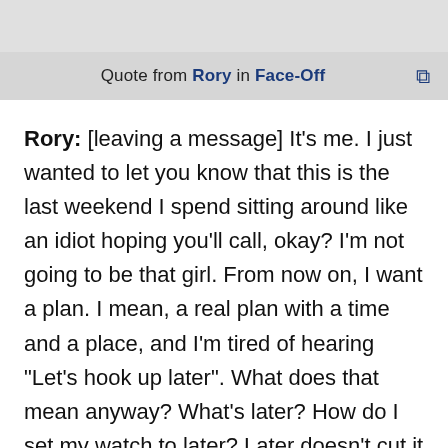Quote from Rory in Face-Off
Rory: [leaving a message] It's me. I just wanted to let you know that this is the last weekend I spend sitting around like an idiot hoping you'll call, okay? I'm not going to be that girl. From now on, I want a plan. I mean, a real plan with a time and a place, and I'm tired of hearing "Let's hook up later". What does that mean anyway? What's later? How do I set my watch to later? Later doesn't cut it anymore, got it? And, yeah, you know, maybe I am spoiled. But guess what? I like